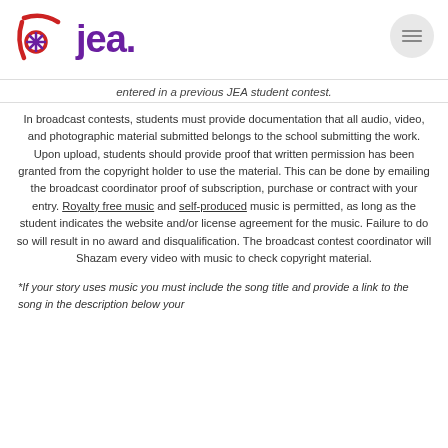[Figure (logo): JEA logo with red and purple asterisk/arc symbol and purple 'jea.' text]
entered in a previous JEA student contest.
In broadcast contests, students must provide documentation that all audio, video, and photographic material submitted belongs to the school submitting the work. Upon upload, students should provide proof that written permission has been granted from the copyright holder to use the material. This can be done by emailing the broadcast coordinator proof of subscription, purchase or contract with your entry. Royalty free music and self-produced music is permitted, as long as the student indicates the website and/or license agreement for the music. Failure to do so will result in no award and disqualification. The broadcast contest coordinator will Shazam every video with music to check copyright material.
*If your story uses music you must include the song title and provide a link to the song in the description below your